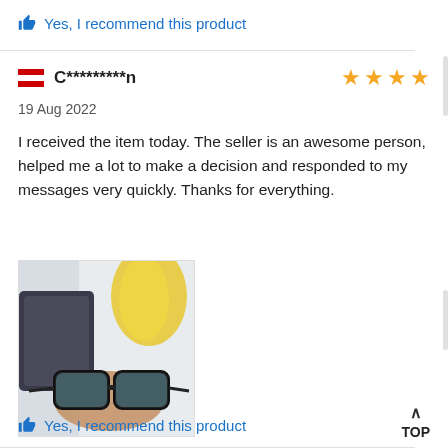Yes, I recommend this product
C*********n
19 Aug 2022
I received the item today. The seller is an awesome person, helped me a lot to make a decision and responded to my messages very quickly. Thanks for everything.
[Figure (photo): Photo of a person holding sunglasses/glasses in front of packaging materials including a yellow item in the background]
Yes, I recommend this product